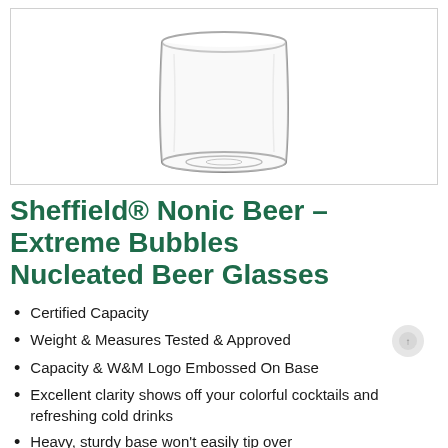[Figure (photo): A clear glass beer glass (Nonic style) photographed from above-front angle, showing the bottom/base of the glass on a white background]
Sheffield® Nonic Beer – Extreme Bubbles Nucleated Beer Glasses
Certified Capacity
Weight & Measures Tested & Approved
Capacity & W&M Logo Embossed On Base
Excellent clarity shows off your colorful cocktails and refreshing cold drinks
Heavy, sturdy base won't easily tip over
Ideal for home, restaurant, and entertainment use